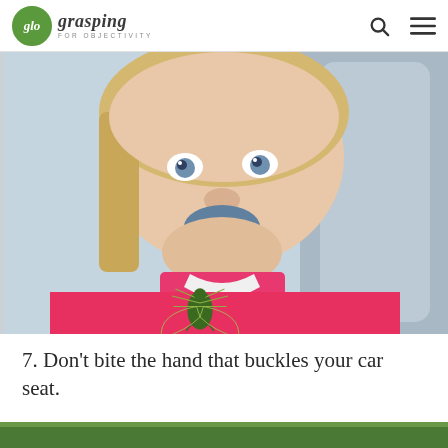glo grasping FOR OBJECTIVITY
[Figure (photo): Young child with blue/dark coloring around mouth, smiling, wearing a bright pink shirt with an insect graphic design, seated in what appears to be a car seat]
7. Don't bite the hand that buckles your car seat.
[Figure (photo): Bottom portion of another image peeking at the bottom of the page, appears green/outdoor scene]